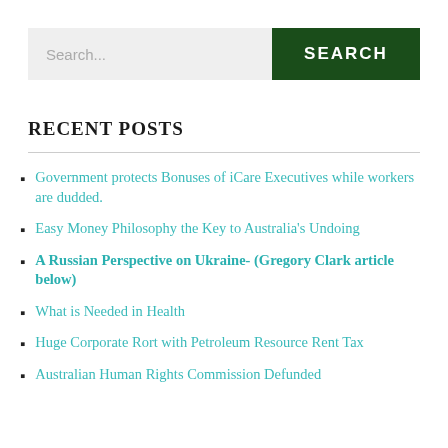Search...
RECENT POSTS
Government protects Bonuses of iCare Executives while workers are dudded.
Easy Money Philosophy the Key to Australia's Undoing
A Russian Perspective on Ukraine- (Gregory Clark article below)
What is Needed in Health
Huge Corporate Rort with Petroleum Resource Rent Tax
Australian Human Rights Commission Defunded